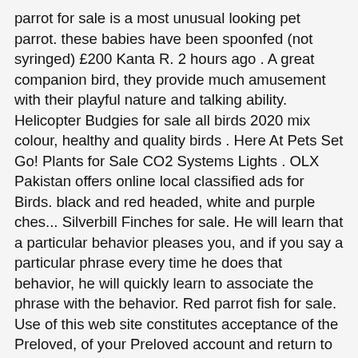parrot for sale is a most unusual looking pet parrot. these babies have been spoonfed (not syringed) £200 Kanta R. 2 hours ago . A great companion bird, they provide much amusement with their playful nature and talking ability. Helicopter Budgies for sale all birds 2020 mix colour, healthy and quality birds . Here At Pets Set Go! Plants for Sale CO2 Systems Lights . OLX Pakistan offers online local classified ads for Birds. black and red headed, white and purple ches... Silverbill Finches for sale. He will learn that a particular behavior pleases you, and if you say a particular phrase every time he does that behavior, he will quickly learn to associate the phrase with the behavior. Red parrot fish for sale. Use of this web site constitutes acceptance of the Preloved, of your Preloved account and return to the homepage, Use this button to open and close the breadcrumb list, Navigate to the sub-categories of Home and Family, Display the search results in a grid layout, Display the search results in a list layout, Beautiful Proven Super Tame Handreared baby Eclectus Parrot, This advert has no user uploaded images or videos, You